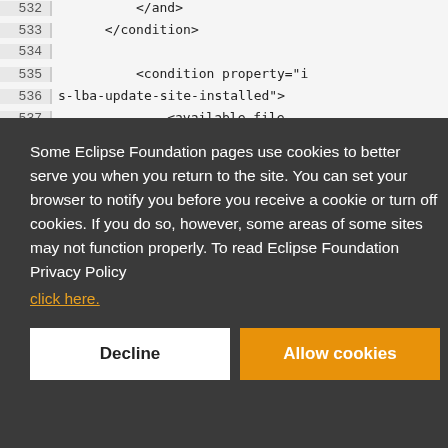532   </and>
533       </condition>
534
535           <condition property="i
536 s-lba-update-site-installed">
537               <available file
538 ...
Some Eclipse Foundation pages use cookies to better serve you when you return to the site. You can set your browser to notify you before you receive a cookie or turn off cookies. If you do so, however, some areas of some sites may not function properly. To read Eclipse Foundation Privacy Policy
click here.
Decline
Allow cookies
535   <condition property= i
536 ...